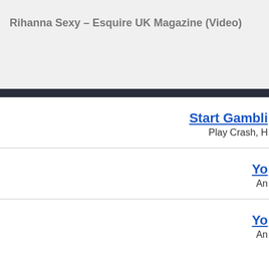Rihanna Sexy – Esquire UK Magazine (Video)
Start Gambli...
Play Crash, H...
Yo...
An...
Yo...
An...